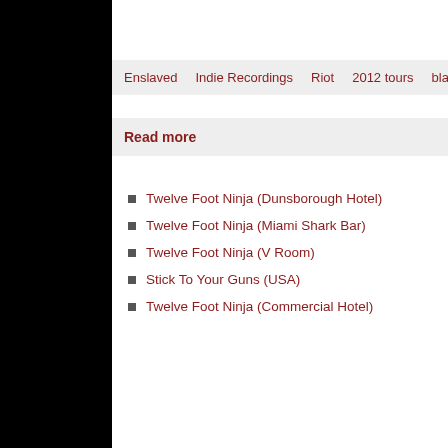Enslaved   Indie Recordings   Riot   2012 tours   black meta…
Read more
Twelve Foot Ninja (Dunsborough Hotel)
Twelve Foot Ninja (Miami Shark Bar)
Twelve Foot Ninja (V Room)
Stick To Your Guns (USA)
Twelve Foot Ninja (Commercial Hotel)